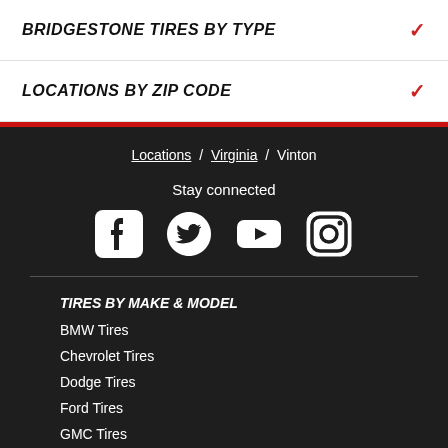BRIDGESTONE TIRES BY TYPE
LOCATIONS BY ZIP CODE
Locations / Virginia / Vinton
Stay connected
[Figure (infographic): Social media icons: Facebook, Twitter, YouTube, Instagram]
TIRES BY MAKE & MODEL
BMW Tires
Chevrolet Tires
Dodge Tires
Ford Tires
GMC Tires
Honda Tires
Nissan Tires